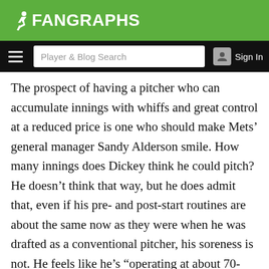FanGraphs
The prospect of having a pitcher who can accumulate innings with whiffs and great control at a reduced price is one who should make Mets’ general manager Sandy Alderson smile. How many innings does Dickey think he could pitch? He doesn’t think that way, but he does admit that, even if his pre- and post-start routines are about the same now as they were when he was drafted as a conventional pitcher, his soreness is not. He feels like he’s “operating at about 70-75% capacity” and usually “feels strong” at the end of the season.